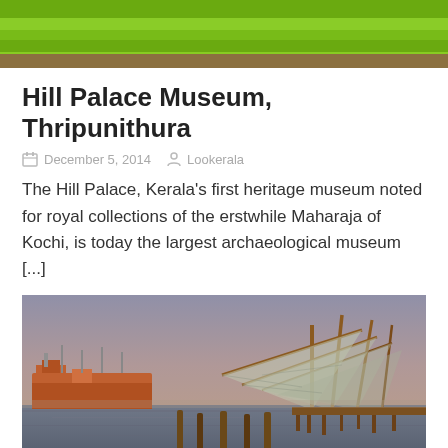[Figure (photo): Top banner image showing green grass and lawn area]
Hill Palace Museum, Thripunithura
December 5, 2014   Lookerala
The Hill Palace, Kerala's first heritage museum noted for royal collections of the erstwhile Maharaja of Kochi, is today the largest archaeological museum [...]
[Figure (photo): Photograph of Chinese fishing nets at dusk/twilight in Kochi (Fort Kochi), Kerala, with a cargo ship visible in the background and wooden poles in the water]